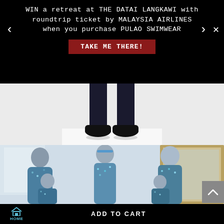WIN a retreat at THE DATAI LANGKAWI with roundtrip ticket by MALAYSIA AIRLINES when you purchase PULAO SWIMWEAR
TAKE ME THERE!
[Figure (photo): Close-up of dark trousers and black shoes on white floor, shot from above]
[Figure (photo): Family group of five people wearing matching blue floral print shirts/outfits, standing in a bright room with a gold-framed mirror]
ADD TO CART
HOME